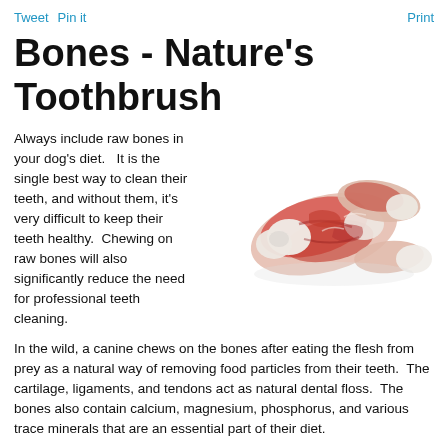Tweet  Pin it  Print
Bones - Nature's Toothbrush
[Figure (photo): A pile of raw meaty bones with cartilage, ligaments, and tendons, shown on a white background]
Always include raw bones in your dog's diet.   It is the single best way to clean their teeth, and without them, it's very difficult to keep their teeth healthy.  Chewing on raw bones will also significantly reduce the need for professional teeth cleaning.
In the wild, a canine chews on the bones after eating the flesh from prey as a natural way of removing food particles from their teeth.  The cartilage, ligaments, and tendons act as natural dental floss.  The bones also contain calcium, magnesium, phosphorus, and various trace minerals that are an essential part of their diet.